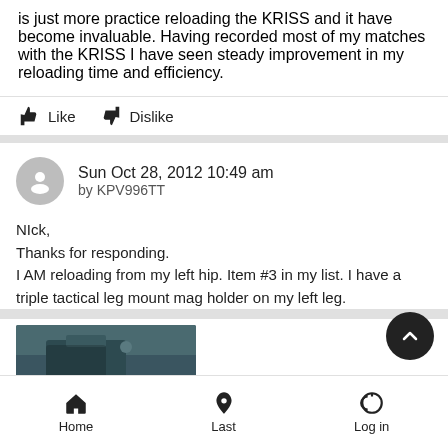is just more practice reloading the KRISS and it have become invaluable. Having recorded most of my matches with the KRISS I have seen steady improvement in my reloading time and efficiency.
Like   Dislike
Sun Oct 28, 2012 10:49 am
by KPV996TT
NIck,
Thanks for responding.
I AM reloading from my left hip. Item #3 in my list. I have a triple tactical leg mount mag holder on my left leg.
[Figure (photo): Photo of dark blue/grey tactical leg mount equipment on a leg]
Home   Last   Log in